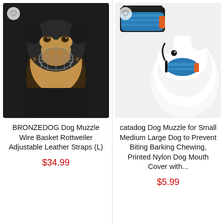[Figure (photo): Rottweiler dog wearing a wire basket muzzle, black and tan coloring, close-up portrait]
BRONZEDOG Dog Muzzle Wire Basket Rottweiler Adjustable Leather Straps (L)
$34.99
[Figure (photo): White Samoyed dog wearing a blue printed nylon muzzle with adjustable straps, product also shown separately above the dog]
catadog Dog Muzzle for Small Medium Large Dog to Prevent Biting Barking Chewing, Printed Nylon Dog Mouth Cover with...
$5.99